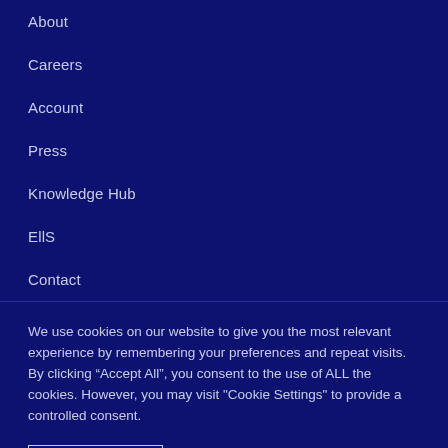About
Careers
Account
Press
Knowledge Hub
EllS
Contact
We use cookies on our website to give you the most relevant experience by remembering your preferences and repeat visits. By clicking “Accept All”, you consent to the use of ALL the cookies. However, you may visit "Cookie Settings" to provide a controlled consent.
Cookie Settings | Accept All